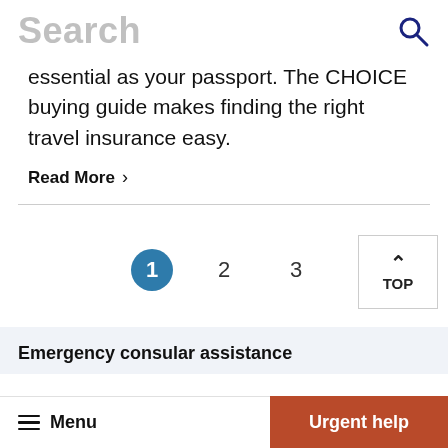Search
essential as your passport. The CHOICE buying guide makes finding the right travel insurance easy.
Read More >
1  2  3
Emergency consular assistance
Menu   Urgent help